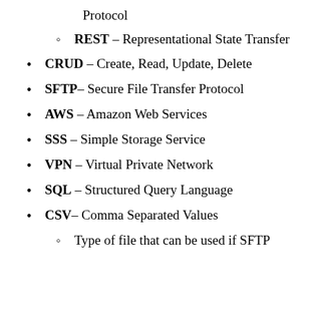Protocol
REST – Representational State Transfer
CRUD – Create, Read, Update, Delete
SFTP– Secure File Transfer Protocol
AWS – Amazon Web Services
SSS – Simple Storage Service
VPN – Virtual Private Network
SQL – Structured Query Language
CSV– Comma Separated Values
Type of file that can be used if SFTP